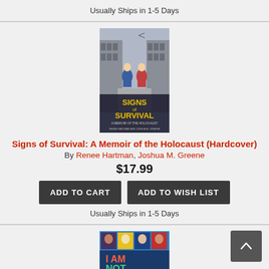Usually Ships in 1-5 Days
[Figure (photo): Book cover of 'Signs of Survival: A Memoir of the Holocaust' showing two figures in coats on a city street with wartime imagery]
Signs of Survival: A Memoir of the Holocaust (Hardcover)
By Renee Hartman, Joshua M. Greene
$17.99
ADD TO CART
ADD TO WISH LIST
Usually Ships in 1-5 Days
[Figure (photo): Book cover of 'I Am Not a Label' showing illustrated portraits of diverse people in colorful grid panels]